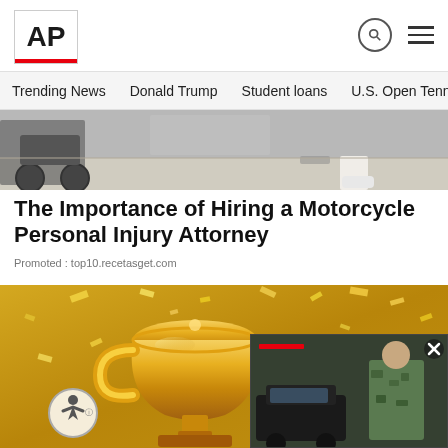[Figure (logo): AP (Associated Press) logo — bold black letters in white box with red underbar]
Trending News  Donald Trump  Student loans  U.S. Open Tenn
[Figure (photo): Cropped photo showing a wheelchair and person's feet/legs on a floor]
The Importance of Hiring a Motorcycle Personal Injury Attorney
Promoted : top10.recetasget.com
[Figure (photo): Gold trophy cup with confetti on a golden background]
[Figure (photo): Video overlay showing a soldier in camouflage outdoors near a car, with a red AP bar and close X button]